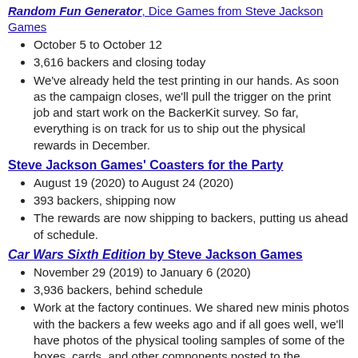Random Fun Generator, Dice Games from Steve Jackson Games
October 5 to October 12
3,616 backers and closing today
We've already held the test printing in our hands. As soon as the campaign closes, we'll pull the trigger on the print job and start work on the BackerKit survey. So far, everything is on track for us to ship out the physical rewards in December.
Steve Jackson Games' Coasters for the Party
August 19 (2020) to August 24 (2020)
393 backers, shipping now
The rewards are now shipping to backers, putting us ahead of schedule.
Car Wars Sixth Edition by Steve Jackson Games
November 29 (2019) to January 6 (2020)
3,936 backers, behind schedule
Work at the factory continues. We shared new minis photos with the backers a few weeks ago and if all goes well, we'll have photos of the physical tooling samples of some of the boxes, cards, and other components posted to the Kickstarter campaign late this month.